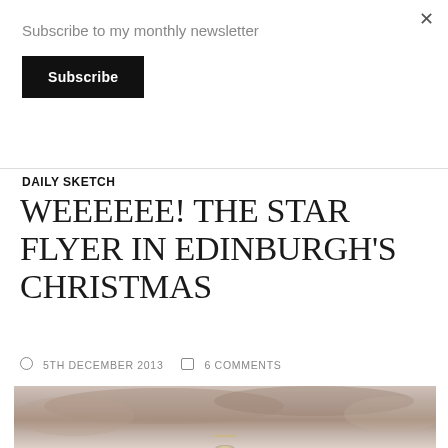Subscribe to my monthly newsletter
Subscribe
DAILY SKETCH
WEEEEEE! THE STAR FLYER IN EDINBURGH'S CHRISTMAS
5TH DECEMBER 2013  6 COMMENTS
[Figure (illustration): Partial watercolor illustration showing the top of a sketch, with brownish-grey tones suggesting a landscape or figure, with a light golden highlight at the bottom center]